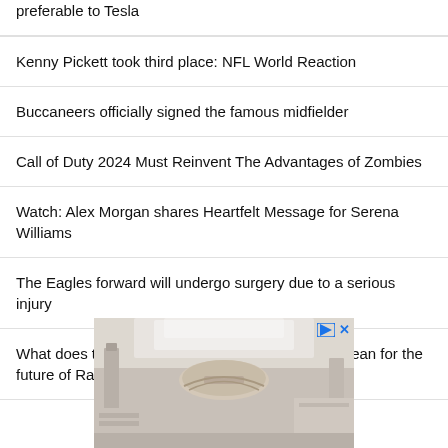preferable to Tesla
Kenny Pickett took third place: NFL World Reaction
Buccaneers officially signed the famous midfielder
Call of Duty 2024 Must Reinvent The Advantages of Zombies
Watch: Alex Morgan shares Heartfelt Message for Serena Williams
The Eagles forward will undergo surgery due to a serious injury
What does the White Deer of the Dragon House mean for the future of Rainira
[Figure (photo): Advertisement image showing an ornate interior space with decorative ceiling and store displays]